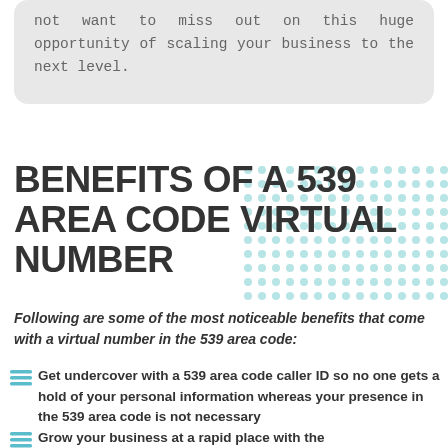not want to miss out on this huge opportunity of scaling your business to the next level.
BENEFITS OF A 539 AREA CODE VIRTUAL NUMBER
Following are some of the most noticeable benefits that come with a virtual number in the 539 area code:
Get undercover with a 539 area code caller ID so no one gets a hold of your personal information whereas your presence in the 539 area code is not necessary
Grow your business at a rapid place with the